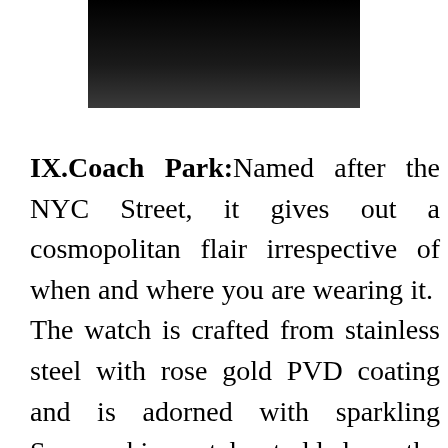[Figure (photo): Dark/black photograph at the top of the page, partially visible, appears to be a product or scene image cropped at the top edge.]
IX.Coach Park: Named after the NYC Street, it gives out a cosmopolitan flair irrespective of when and where you are wearing it. The watch is crafted from stainless steel with rose gold PVD coating and is adorned with sparkling Swarovski crystals studded on the bezel. It is not recommended to take it into